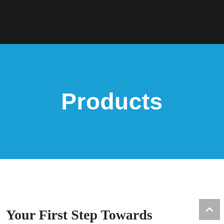[Figure (other): Black navigation bar at the top of the page]
Products
Your First Step Towards